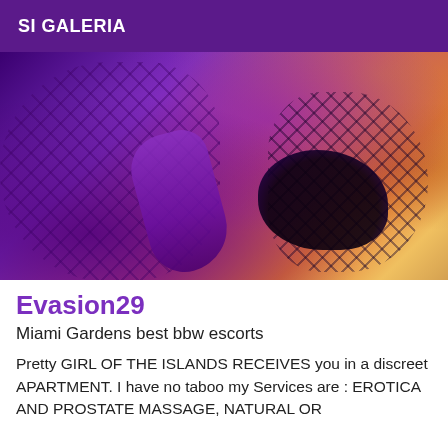SI GALERIA
[Figure (photo): Photo showing fishnet-stockinged legs in a purple-lit room with warm orange/yellow tones in the background, dark silhouette shapes]
Evasion29
Miami Gardens best bbw escorts
Pretty GIRL OF THE ISLANDS RECEIVES you in a discreet APARTMENT. I have no taboo my Services are : EROTICA AND PROSTATE MASSAGE, NATURAL OR